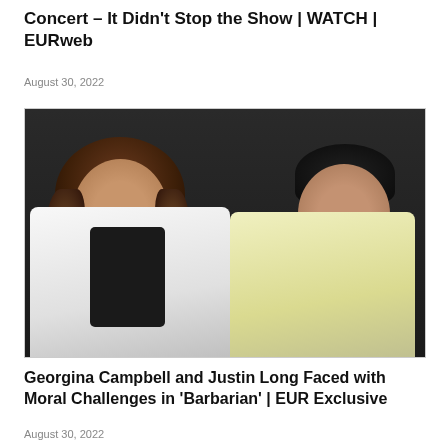Concert – It Didn't Stop the Show | WATCH | EURweb
August 30, 2022
[Figure (photo): Photo of two people seated side by side. On the left is a woman with curly brown hair wearing a white jacket over a black top. On the right is a man with dark hair wearing a light yellow t-shirt. Both are in front of a dark background.]
Georgina Campbell and Justin Long Faced with Moral Challenges in 'Barbarian' | EUR Exclusive
August 30, 2022